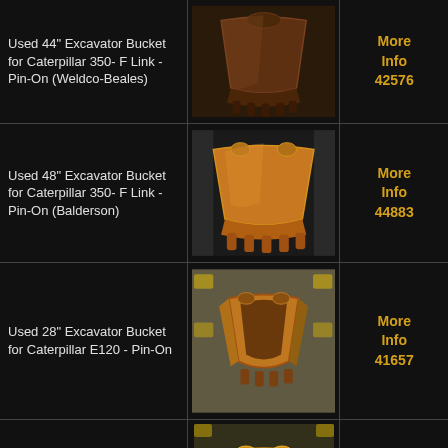| Description | Image | More Info |
| --- | --- | --- |
| Used 44" Excavator Bucket for Caterpillar 350- F Link - Pin-On (Weldco-Beales) | [photo] | More Info 42576 |
| Used 48" Excavator Bucket for Caterpillar 350- F Link - Pin-On (Balderson) | [photo] | More Info 44883 |
| Used 28" Excavator Bucket for Caterpillar E120 - Pin-On | [photo] | More Info 41657 |
| New 32" Excavator Bucket for Caterpillar E140 - Pin-On (Chikara) | [photo] | More Info 41424 |
| [partial row] | [photo] |  |